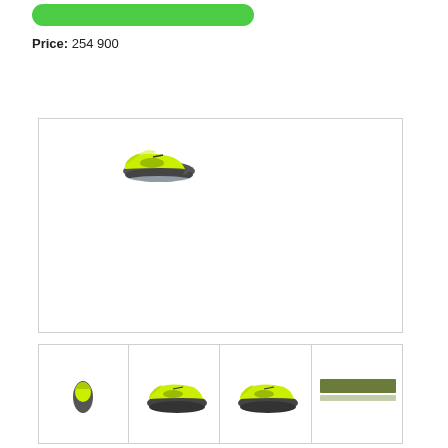[Figure (other): Green rounded rectangle button at top]
Price: 254 900
[Figure (photo): Main product image area showing a yellow-green jet ski (Sea-Doo style) in the upper-left portion of a large white bordered image box]
[Figure (photo): Row of four thumbnail images: first shows small yellow-green jet ski top view, second shows full jet ski side view (yellow-green on dark hull), third shows similar jet ski side view, fourth shows a green bar/stripe image]